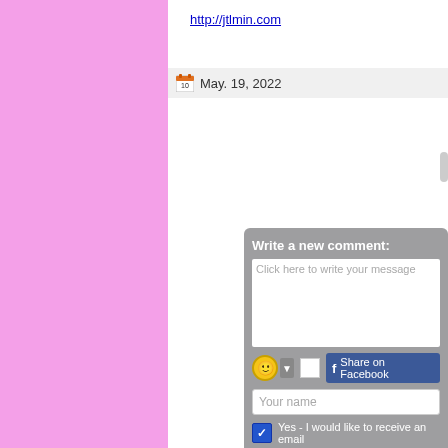http://jtlmin.com
May. 19, 2022
Write a new comment:
Click here to write your message
Share on Facebook
Your name
Yes - I would like to receive an email